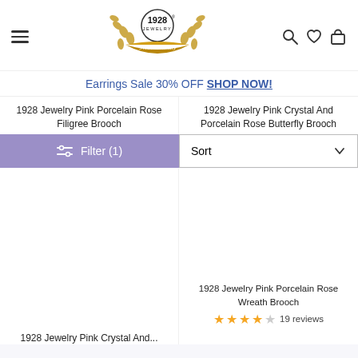[Figure (screenshot): 1928 Jewelry website header with logo (1928 Jewelry 54th Anniversary), hamburger menu icon on left, search, heart, and shopping bag icons on right]
Earrings Sale 30% OFF SHOP NOW!
1928 Jewelry Pink Porcelain Rose Filigree Brooch
1928 Jewelry Pink Crystal And Porcelain Rose Butterfly Brooch
Filter (1)
Sort
1928 Jewelry Pink Porcelain Rose Wreath Brooch
19 reviews
1928 Jewelry Pink Crystal And...